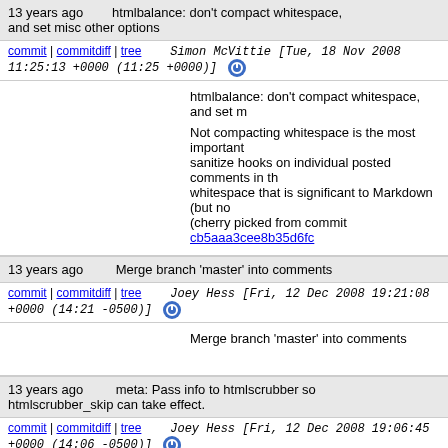13 years ago   htmlbalance: don't compact whitespace, and set misc other options
commit | commitdiff | tree   Simon McVittie [Tue, 18 Nov 2008 11:25:13 +0000 (11:25 +0000)]
htmlbalance: don't compact whitespace, and set m

Not compacting whitespace is the most important sanitize hooks on individual posted comments in th whitespace that is significant to Markdown (but no (cherry picked from commit cb5aaa3cee8b35d6fc...
13 years ago   Merge branch 'master' into comments
commit | commitdiff | tree   Joey Hess [Fri, 12 Dec 2008 19:21:08 +0000 (14:21 -0500)]
Merge branch 'master' into comments
13 years ago   meta: Pass info to htmlscrubber so htmlscrubber_skip can take effect.
commit | commitdiff | tree   Joey Hess [Fri, 12 Dec 2008 19:06:45 +0000 (14:06 -0500)]
meta: Pass info to htmlscrubber so htmlscrubber_...